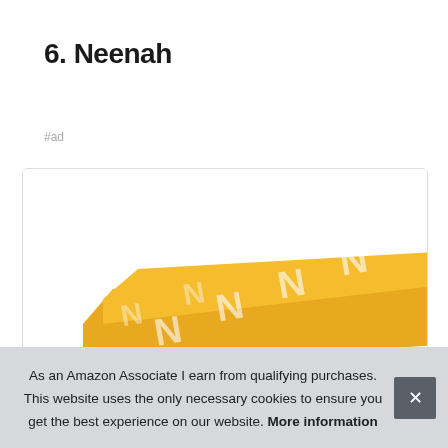6. Neenah
#ad
[Figure (photo): Product image of Neenah branded paper with yellow/orange packaging featuring large 'N' pattern design, partially visible at bottom of card.]
As an Amazon Associate I earn from qualifying purchases. This website uses the only necessary cookies to ensure you get the best experience on our website. More information